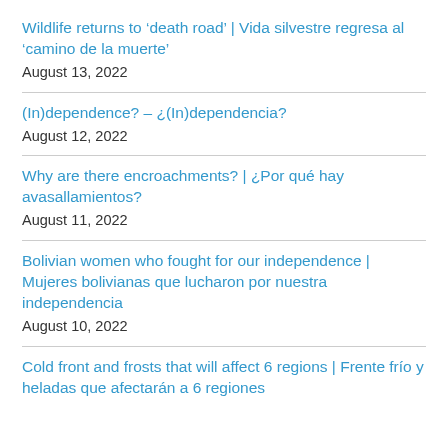Wildlife returns to ‘death road’ | Vida silvestre regresa al ‘camino de la muerte’
August 13, 2022
(In)dependence? – ¿(In)dependencia?
August 12, 2022
Why are there encroachments? | ¿Por qué hay avasallamientos?
August 11, 2022
Bolivian women who fought for our independence | Mujeres bolivianas que lucharon por nuestra independencia
August 10, 2022
Cold front and frosts that will affect 6 regions | Frente frío y heladas que afectarán a 6 regiones